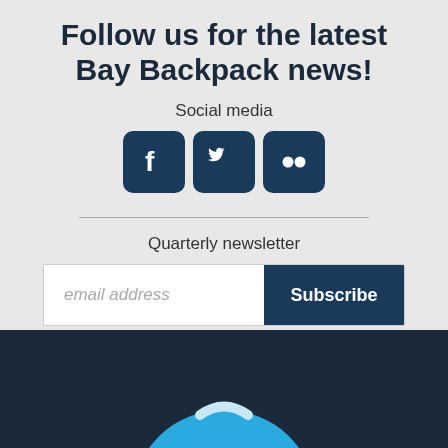Follow us for the latest Bay Backpack news!
Social media
[Figure (illustration): Three social media icons: Facebook, Twitter, and Flickr, each in a dark blue rounded square]
Quarterly newsletter
email address  Subscribe
[Figure (illustration): Backpack illustration in blue tones on dark navy background, partially visible at bottom of page]